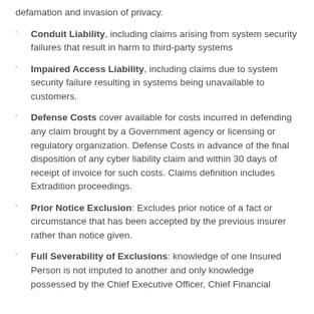defamation and invasion of privacy.
Conduit Liability, including claims arising from system security failures that result in harm to third-party systems
Impaired Access Liability, including claims due to system security failure resulting in systems being unavailable to customers.
Defense Costs cover available for costs incurred in defending any claim brought by a Government agency or licensing or regulatory organization. Defense Costs in advance of the final disposition of any cyber liability claim and within 30 days of receipt of invoice for such costs. Claims definition includes Extradition proceedings.
Prior Notice Exclusion: Excludes prior notice of a fact or circumstance that has been accepted by the previous insurer rather than notice given.
Full Severability of Exclusions: knowledge of one Insured Person is not imputed to another and only knowledge possessed by the Chief Executive Officer, Chief Financial